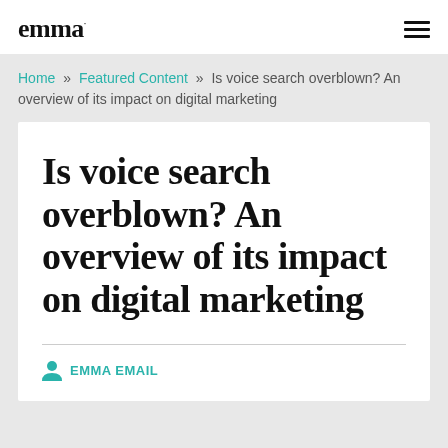emma
Home » Featured Content » Is voice search overblown? An overview of its impact on digital marketing
Is voice search overblown? An overview of its impact on digital marketing
EMMA EMAIL